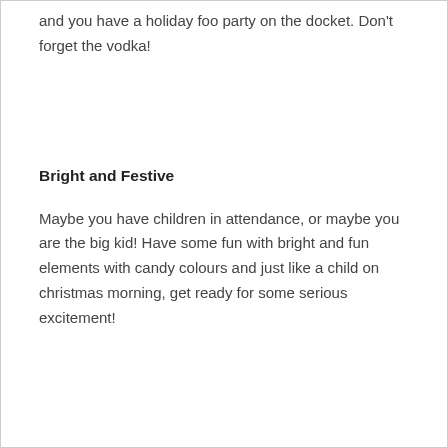and you have a holiday foo party on the docket. Don't forget the vodka!
Bright and Festive
Maybe you have children in attendance, or maybe you are the big kid! Have some fun with bright and fun elements with candy colours and just like a child on christmas morning, get ready for some serious excitement!